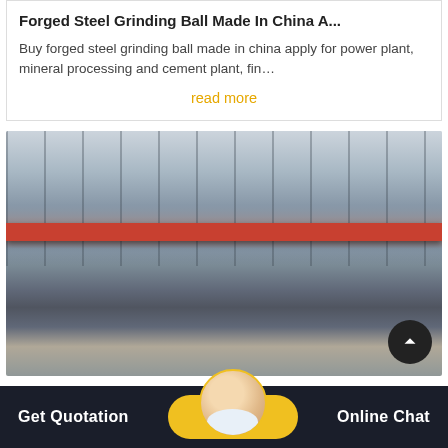Forged Steel Grinding Ball Made In China A...
Buy forged steel grinding ball made in china apply for power plant, mineral processing and cement plant, fin...
read more
[Figure (photo): Interior of a steel manufacturing factory showing overhead crane with red beam, industrial equipment, and large machinery on the floor]
Get Quotation   Online Chat